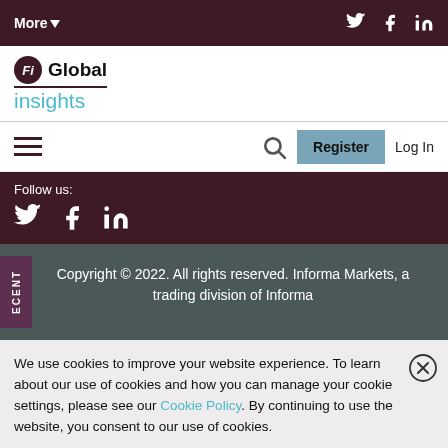More▼   [Twitter] [Facebook] [LinkedIn]
[Figure (logo): Fi Global Insights logo with circular Fi icon and teal insights text]
[Hamburger menu]   [Search icon]   Register   Log In
Follow us: [Twitter] [Facebook] [LinkedIn]
Copyright © 2022. All rights reserved. Informa Markets, a trading division of Informa
We use cookies to improve your website experience. To learn about our use of cookies and how you can manage your cookie settings, please see our Cookie Policy. By continuing to use the website, you consent to our use of cookies.